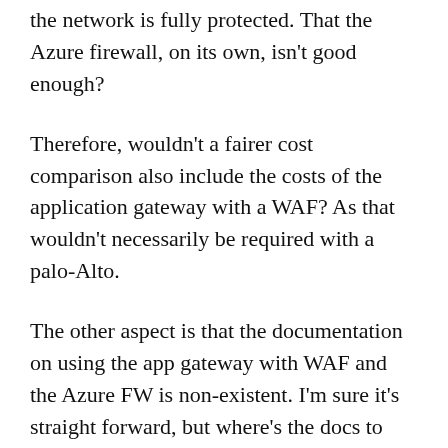the network is fully protected. That the Azure firewall, on its own, isn't good enough?
Therefore, wouldn't a fairer cost comparison also include the costs of the application gateway with a WAF? As that wouldn't necessarily be required with a palo-Alto.
The other aspect is that the documentation on using the app gateway with WAF and the Azure FW is non-existent. I'm sure it's straight forward, but where's the docs to show ref architecture? It doesn't exist as far